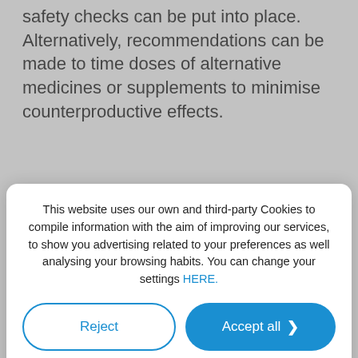safety checks can be put into place. Alternatively, recommendations can be made to time doses of alternative medicines or supplements to minimise counterproductive effects.
By doing this, you have greater control, enhancing trust within a two-way therapeutic relationship, and ensures your holistic well-being is safeguarded by
[Figure (screenshot): Cookie consent modal overlay on a medical/health website. Contains cookie policy text, a 'Reject' button (outlined), an 'Accept all' button (blue filled with arrow), and links to Custom configuration, Cookies Policy, and Privacy Policy. A close (X) button is visible in the top-right corner of the overlay.]
different cancer charities, such as Macmillan, or the...